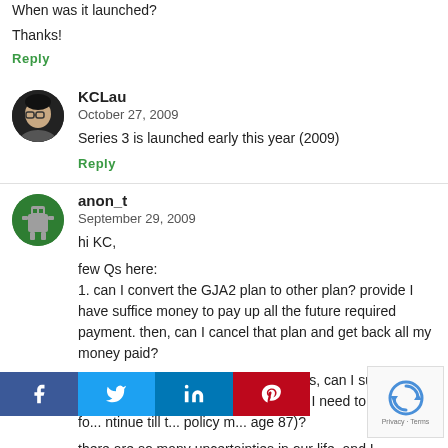When was it launched?
Thanks!
Reply
KCLau
October 27, 2009
Series 3 is launched early this year (2009)
Reply
anon_t
September 29, 2009
hi KC,
few Qs here:
1. can I convert the GJA2 plan to other plan? provide I have suffice money to pay up all the future required payment. then, can I cancel that plan and get back all my money paid?
2. after paying the policy fully 10 years, can I surrender and get back all the money I paid? or I need to w... years fo... ntinue till t... policy m... age 87)?
there are so many uncertainties in our life, and I... to know the risk of make such life time decision in GJA...
[Figure (infographic): Social share bar with Facebook, Twitter, LinkedIn, Pinterest buttons]
[Figure (other): reCAPTCHA widget with circular arrow logo]